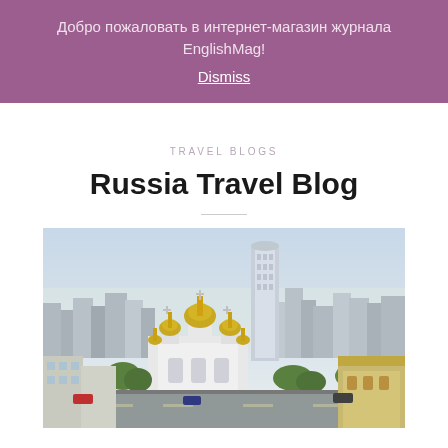Добро пожаловать в интернет-магазин журнала EnglishMag!
Dismiss
TRAVEL BLOGS
Russia Travel Blog
[Figure (photo): Aerial panoramic view of a Russian city featuring an Orthodox church with golden domes in the foreground and modern skyscrapers in the background, with roads, green trees, and urban buildings visible.]